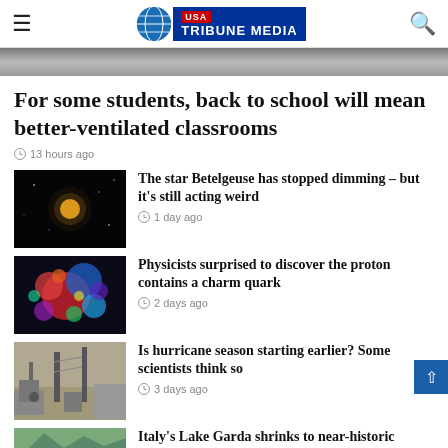USA Tribune Media
[Figure (photo): Hero image banner at top of news website]
For some students, back to school will mean better-ventilated classrooms
13 hours ago
[Figure (photo): Night sky photo showing bright star Betelgeuse]
The star Betelgeuse has stopped dimming – but it's still acting weird
1 day ago
[Figure (photo): Colorful particle physics visualization with spheres]
Physicists surprised to discover the proton contains a charm quark
2 days ago
[Figure (photo): Hurricane damage street scene with utility poles]
Is hurricane season starting earlier? Some scientists think so
3 days ago
[Figure (photo): Lake Garda aerial or landscape view]
Italy's Lake Garda shrinks to near-historic